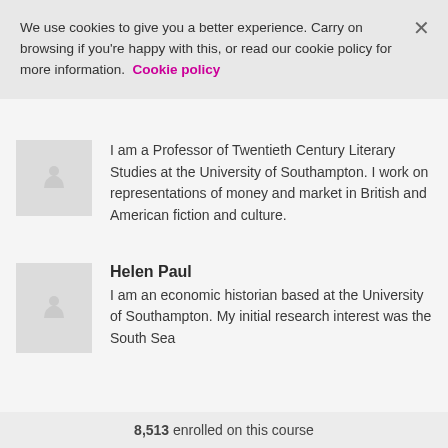We use cookies to give you a better experience. Carry on browsing if you're happy with this, or read our cookie policy for more information.  Cookie policy
I am a Professor of Twentieth Century Literary Studies at the University of Southampton. I work on representations of money and market in British and American fiction and culture.
Helen Paul
I am an economic historian based at the University of Southampton. My initial research interest was the South Sea
8,513 enrolled on this course